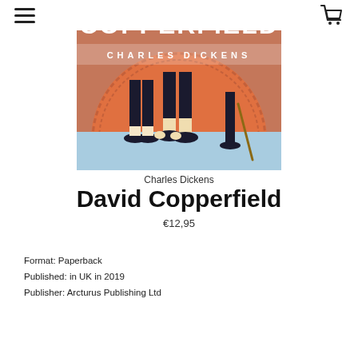≡  [cart icon]
[Figure (illustration): Book cover of David Copperfield by Charles Dickens. Shows the title COPPERFIELD in large white bold text and CHARLES DICKENS in spaced white letters on a terracotta/orange background, with an illustration of figures' legs and feet standing on a light blue ground against a large orange circular decorative pattern.]
Charles Dickens
David Copperfield
€12,95
Format: Paperback
Published: in UK in 2019
Publisher: Arcturus Publishing Ltd